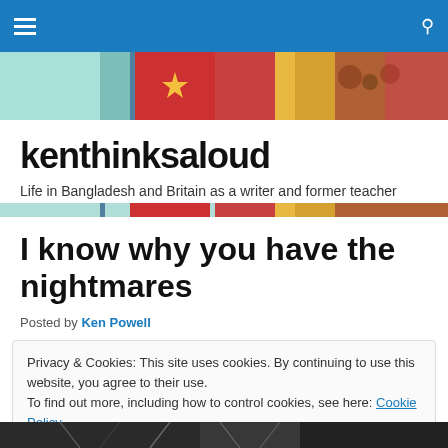kenthinksaloud — navigation bar
[Figure (photo): Colorful banner image with flags and decorations at the top of the blog header]
kenthinksaloud
Life in Bangladesh and Britain as a writer and former teacher
I know why you have the nightmares
Posted by Ken Powell
Privacy & Cookies: This site uses cookies. By continuing to use this website, you agree to their use.
To find out more, including how to control cookies, see here: Cookie Policy
Close and accept
[Figure (photo): Partial photo visible at the bottom of the page]